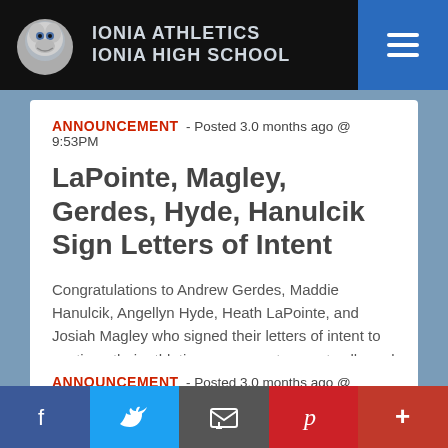IONIA ATHLETICS
IONIA HIGH SCHOOL
ANNOUNCEMENT - Posted 3.0 months ago @ 9:53PM
LaPointe, Magley, Gerdes, Hyde, Hanulcik Sign Letters of Intent
Congratulations to Andrew Gerdes, Maddie Hanulcik, Angellyn Hyde, Heath LaPointe, and Josiah Magley who signed their letters of intent to continue their athletic careers next year at college d
Read More
ANNOUNCEMENT - Posted 3.0 months ago @ 8:13PM